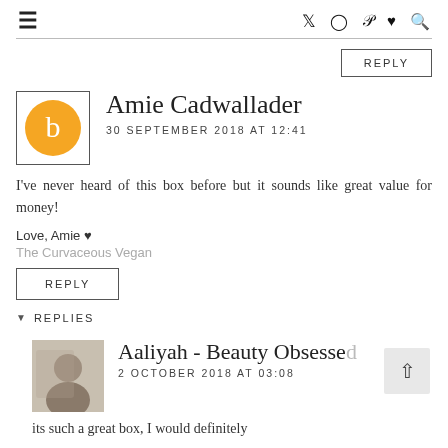≡  Twitter Instagram Pinterest Heart Search
REPLY
Amie Cadwallader
30 SEPTEMBER 2018 AT 12:41
I've never heard of this box before but it sounds like great value for money!

Love, Amie ♥
The Curvaceous Vegan
REPLY
▾ REPLIES
Aaliyah - Beauty Obsesse…
2 OCTOBER 2018 AT 03:08
its such a great box, I would definitely